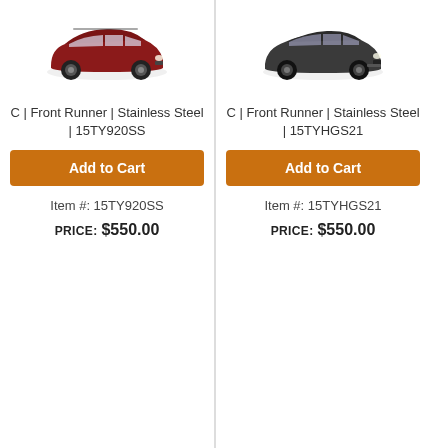[Figure (photo): Red Toyota minivan (Sienna) shown from front-side angle]
C | Front Runner | Stainless Steel | 15TY920SS
Add to Cart
Item #: 15TY920SS
PRICE: $550.00
[Figure (photo): Dark gray Toyota SUV (Highlander) shown from front-side angle]
C | Front Runner | Stainless Steel | 15TYHGS21
Add to Cart
Item #: 15TYHGS21
PRICE: $550.00